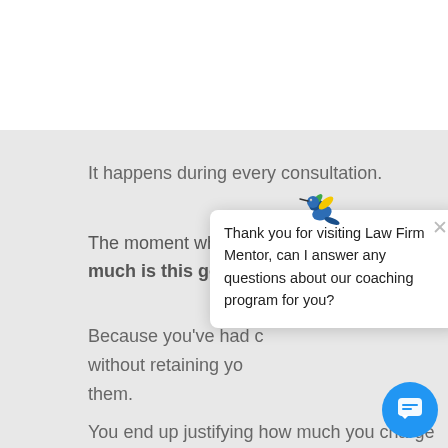It happens during every consultation.
The moment where the client asks, “How much is this going to cost?”
Because you’ve had clients who left without retaining you... them.
[Figure (illustration): Colorful hummingbird logo for Law Firm Mentor]
Thank you for visiting Law Firm Mentor, can I answer any questions about our coaching program for you?
You end up justifying how much you charge w... this reason or that, and at the end of it all, you...